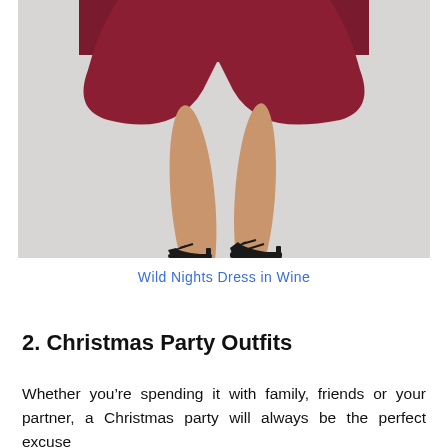[Figure (photo): Close-up photo of the lower half of a person wearing a wine-colored flared dress and black strappy heeled sandals, standing against a light grey background.]
Wild Nights Dress in Wine
2. Christmas Party Outfits
Whether you're spending it with family, friends or your partner, a Christmas party will always be the perfect excuse